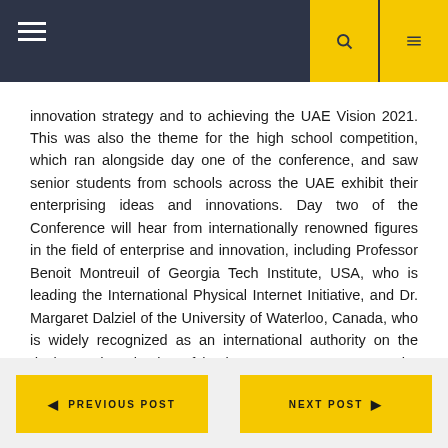Navigation bar with hamburger menu and icon buttons
innovation strategy and to achieving the UAE Vision 2021. This was also the theme for the high school competition, which ran alongside day one of the conference, and saw senior students from schools across the UAE exhibit their enterprising ideas and innovations. Day two of the Conference will hear from internationally renowned figures in the field of enterprise and innovation, including Professor Benoit Montreuil of Georgia Tech Institute, USA, who is leading the International Physical Internet Initiative, and Dr. Margaret Dalziel of the University of Waterloo, Canada, who is widely recognized as an international authority on the design and evaluation of business support programs. The conference proceedings will be published by Springer. Canadian University Dubai is grateful for the support of conference sponsors, Huawei UAE and Air Canada.
PREVIOUS POST | NEXT POST